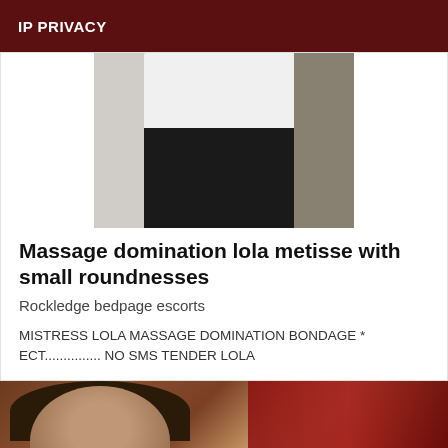IP PRIVACY
[Figure (photo): Person wearing white shirt and black pants photographed from torso down in a room]
Massage domination lola metisse with small roundnesses
Rockledge bedpage escorts
MISTRESS LOLA MASSAGE DOMINATION BONDAGE * ECT............... NO SMS TENDER LOLA
[Figure (photo): Close-up photo of a woman's face with dark hair, near a red/dark background]